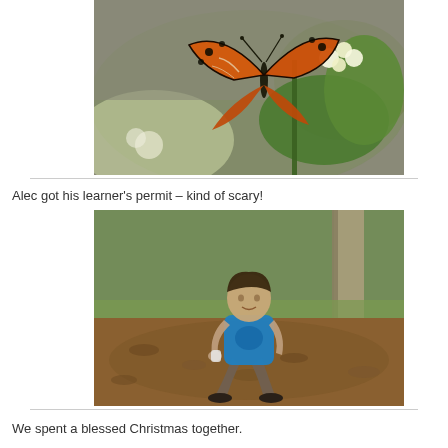[Figure (photo): A Gulf Fritillary butterfly with orange and black wings perched on white and yellow flowers (lantana) with green leaves in the background.]
Alec got his learner's permit – kind of scary!
[Figure (photo): A teenage boy crouching outdoors among fallen brown leaves, wearing a blue graphic t-shirt and shorts, holding something small, with trees and green grass in the background.]
We spent a blessed Christmas together.